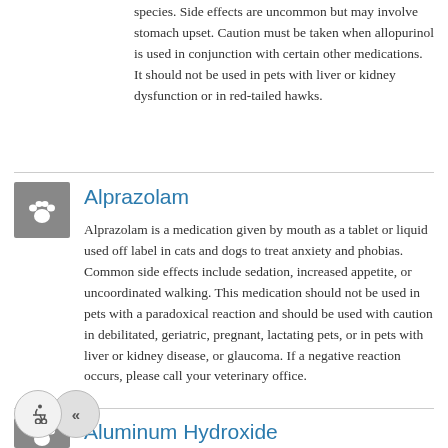species. Side effects are uncommon but may involve stomach upset. Caution must be taken when allopurinol is used in conjunction with certain other medications. It should not be used in pets with liver or kidney dysfunction or in red-tailed hawks.
Alprazolam
[Figure (illustration): Gray square icon with white paw print]
Alprazolam is a medication given by mouth as a tablet or liquid used off label in cats and dogs to treat anxiety and phobias. Common side effects include sedation, increased appetite, or uncoordinated walking. This medication should not be used in pets with a paradoxical reaction and should be used with caution in debilitated, geriatric, pregnant, lactating pets, or in pets with liver or kidney disease, or glaucoma. If a negative reaction occurs, please call your veterinary office.
Aluminum Hydroxide
[Figure (illustration): Gray square icon with white paw print]